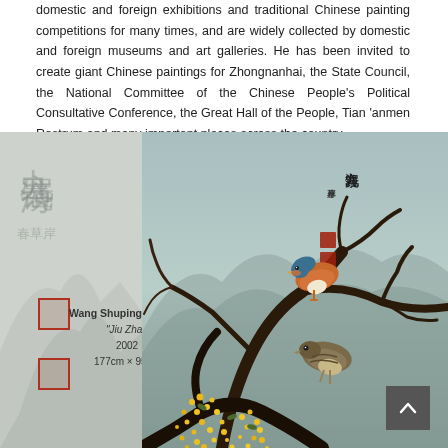domestic and foreign exhibitions and traditional Chinese painting competitions for many times, and are widely collected by domestic and foreign museums and art galleries. He has been invited to create giant Chinese paintings for Zhongnanhai, the State Council, the National Committee of the Chinese People's Political Consultative Conference, the Great Hall of the People, Tian 'anmen Rostrum and many important places across the country.
[Figure (illustration): Two-panel artwork display. Left panel shows faded Chinese calligraphy characters with artwork label 'Wang Shuping's Works "Jiu Zhai" 2002 177cm x 95cm' and two red seals. Right panel shows a traditional Chinese painting of two mandarin ducks perched on tree branches with yellow flowers (osmanthus) in the foreground and a misty mountain background.]